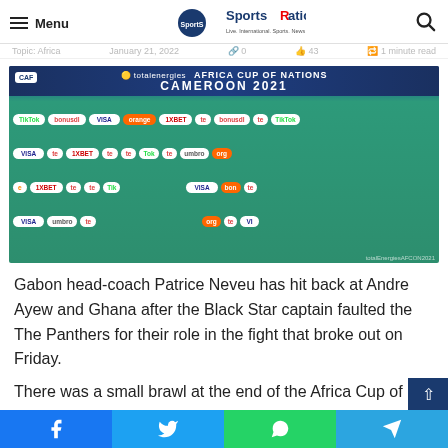Menu | SportsRation
[Figure (photo): Press conference photo of Gabon head coach at Africa Cup of Nations Cameroon 2021 backdrop with sponsor logos including VISA, 1XBET, Orange, TikTok, Totalenergies, Umbro]
Gabon head-coach Patrice Neveu has hit back at Andre Ayew and Ghana after the Black Star captain faulted the The Panthers for their role in the fight that broke out on Friday.
There was a small brawl at the end of the Africa Cup of Nations Group C clash between Gabon and Ghana where
Facebook | Twitter | WhatsApp | Telegram